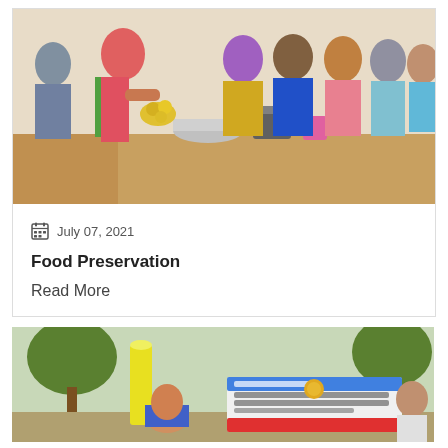[Figure (photo): A woman in a pink and green saree demonstrating food preparation techniques at a table with bowls, containers, and ingredients. Several women in colorful sarees and two men stand around watching in an indoor setting.]
July 07, 2021
Food Preservation
Read More
[Figure (photo): Outdoor scene with people gathered near a banner written in Tamil script. A person holds a yellow cylindrical tube/candle and another person bends over near it. Trees visible in background.]